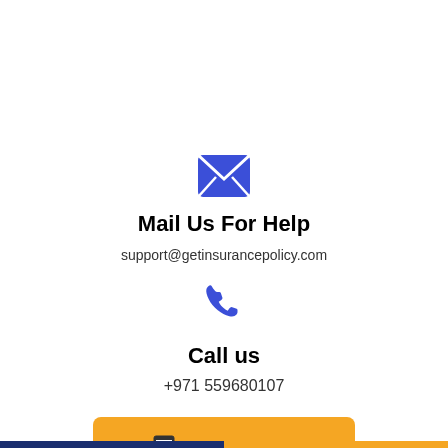[Figure (illustration): Blue envelope icon representing mail/email contact]
Mail Us For Help
support@getinsurancepolicy.com
[Figure (illustration): Blue telephone handset icon representing phone contact]
Call us
+971 559680107
[Figure (illustration): Yellow 'Get A Quote' button with document icon]